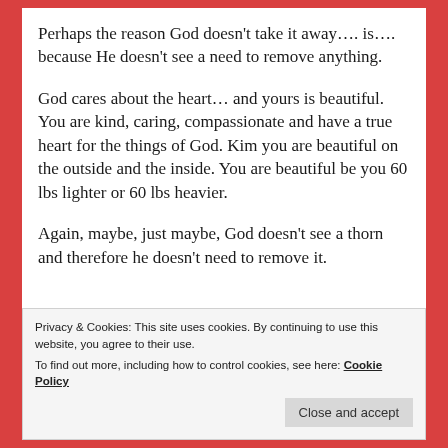Perhaps the reason God doesn't take it away.... is.... because He doesn't see a need to remove anything.
God cares about the heart... and yours is beautiful. You are kind, caring, compassionate and have a true heart for the things of God. Kim you are beautiful on the outside and the inside. You are beautiful be you 60 lbs lighter or 60 lbs heavier.
Again, maybe, just maybe, God doesn't see a thorn and therefore he doesn't need to remove it.
Privacy & Cookies: This site uses cookies. By continuing to use this website, you agree to their use.
To find out more, including how to control cookies, see here: Cookie Policy
Close and accept